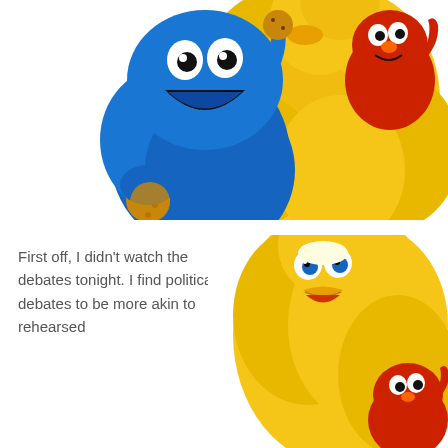[Figure (photo): Photo of Sesame Street characters: Cookie Monster (blue, holding a cookie), Big Bird (large yellow feathered bird), and Elmo (small red monster) posing together against a white background.]
First off, I didn't watch the debates tonight. I find political debates to be more akin to rehearsed
[Figure (photo): Photo of Big Bird (large yellow feathered bird with orange beak) and Elmo (small red monster) against a white background, with Big Bird prominently in the center-right.]